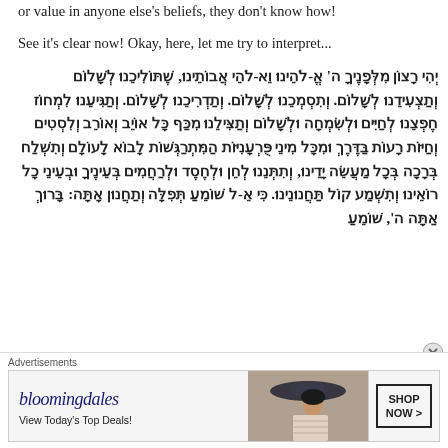or value in anyone else's beliefs, they don't know how!
See it's clear now! Okay, here, let me try to interpret...
יְהִי רָצוֹן מִלְּפָנֶיךָ ה' אֱ-לֹהֵינוּ וֵא-לֹהֵי אֲבוֹתֵינוּ, שֶׁתּוֹלִיכֵנוּ לְשָׁלוֹם וְתַצְעִידֵנוּ לְשָׁלוֹם. וְתִסְמְכֵנוּ לְשָׁלוֹם. וְתַדְרִיכֵנוּ לְשָׁלוֹם. וְתַגִּיעֵנוּ לִמְחוֹז חֶפְצֵנוּ לְחַיִּים וּלְשִׂמְחָה וּלְשָׁלוֹם וְתַצִּילֵנוּ מִכַּף כָּל אוֹיֵב וְאוֹרֵב וְלִסְטִים וְחַיּוֹת רָעוֹת בַּדֶּרֶךְ וּמִכָּל מִינֵי פֻּרְעָנִיּוֹת הַמִּתְרַגְּשׁוֹת לָבוֹא לָעוֹלָם וְתִשְׁלַח בְּרָכָה בְּכָל מַעֲשֵׂה יָדֵינוּ, וְתִתְּנֵנוּ לְחֵן וּלְחֶסֶד וּלְרַחֲמִים בְּעֵינֶיךָ וּבְעֵינֵי כָל רוֹאֵינוּ וְתִשְׁמַע קוֹל תַּחֲנוּנֵינוּ. כִּי אֵ-ל שׁוֹמֵעַ תְּפִלָּה וְתַחֲנוּן אָתָּה: בָּרוּךְ אַתָּה ה', שׁוֹמֵעַ
Advertisements
[Figure (other): Bloomingdale's advertisement banner with logo, 'View Today's Top Deals!' tagline, woman with wide-brim hat, and 'SHOP NOW >' button]